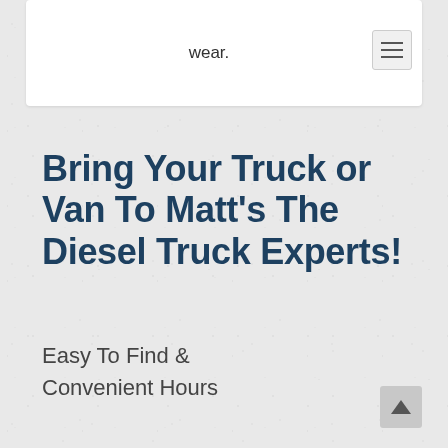you get better gas mileage and reduce tire wear.
Bring Your Truck or Van To Matt's The Diesel Truck Experts!
Easy To Find & Convenient Hours